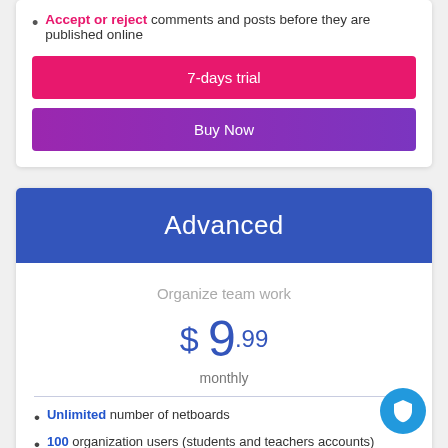Accept or reject comments and posts before they are published online
7-days trial
Buy Now
Advanced
Organize team work
$ 9.99
monthly
Unlimited number of netboards
100 organization users (students and teachers accounts)